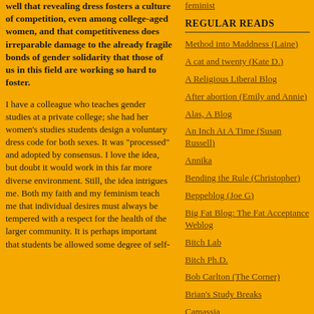well that revealing dress fosters a culture of competition, even among college-aged women, and that competitiveness does irreparable damage to the already fragile bonds of gender solidarity that those of us in this field are working so hard to foster.
I have a colleague who teaches gender studies at a private college; she had her women's studies students design a voluntary dress code for both sexes. It was "processed" and adopted by consensus. I love the idea, but doubt it would work in this far more diverse environment. Still, the idea intrigues me. Both my faith and my feminism teach me that individual desires must always be tempered with a respect for the health of the larger community. It is perhaps important that students be allowed some degree of self-
feminist
REGULAR READS
Method into Maddness (Laine)
A cat and twenty (Kate D.)
A Religious Liberal Blog
After abortion (Emily and Annie)
Alas, A Blog
An Inch At A Time (Susan Russell)
Annika
Bending the Rule (Christopher)
Beppeblog (Joe G)
Big Fat Blog: The Fat Acceptance Weblog
Bitch Lab
Bitch Ph.D.
Bob Carlton (The Corner)
Brian's Study Breaks
Camassia